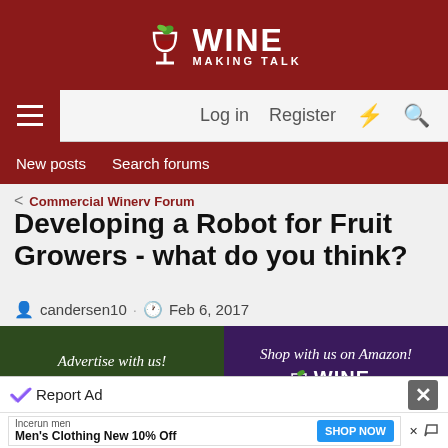[Figure (logo): Wine Making Talk website header with logo - green leaf wine glass icon and WINE MAKING TALK text on dark red background]
Log in   Register
New posts   Search forums
< Commercial Winery Forum
Developing a Robot for Fruit Growers - what do you think?
candersen10 · Feb 6, 2017
[Figure (advertisement): Green background advertisement: Advertise with us! Wine Making Talk logo. www.winemakingtalk.com]
[Figure (advertisement): Purple background advertisement: Shop with us on Amazon! Wine Making Talk logo with Amazon arrow. www.winemakingtalk.com]
[Figure (advertisement): Bottom partial banners - navy and red colored advertisement strips]
Report Ad
[Figure (advertisement): Incerun men Men's Clothing New 10% Off - SHOP NOW button advertisement]